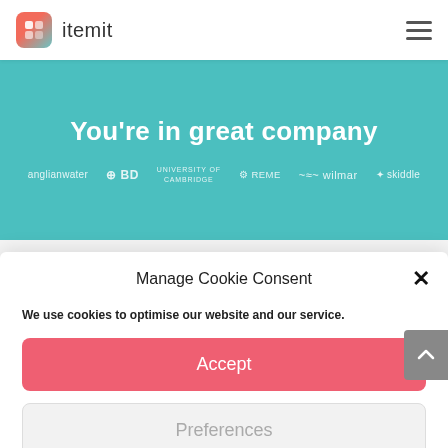[Figure (logo): itemit logo with rounded square icon and text]
[Figure (infographic): Teal banner reading 'You're in great company' with company logos: anglianwater, BD, University of Cambridge, REME, wilmar, skiddle]
Manage Cookie Consent
We use cookies to optimise our website and our service.
Accept
Preferences